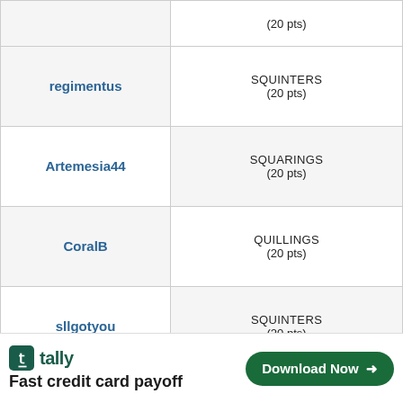| Username | Result |
| --- | --- |
|  | (20 pts) |
| regimentus | SQUINTERS
(20 pts) |
| Artemesia44 | SQUARINGS
(20 pts) |
| CoralB | QUILLINGS
(20 pts) |
| sllgotyou | SQUINTERS
(20 pts) |
| LillyLilly | GRAPHOLOGICAL
(19 pts) |
| MisGlobal... | CONNOTATIONAL |
[Figure (other): Advertisement banner for Tally app — Fast credit card payoff — with Download Now button]